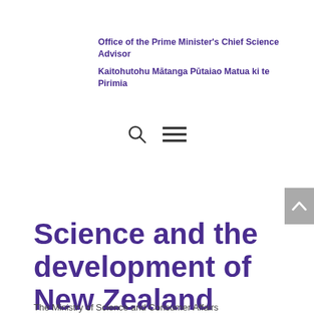Office of the Prime Minister's Chief Science Advisor
Kaitohutohu Mātanga Pūtaiao Matua ki te Pirimia
[Figure (infographic): Navigation icons: a search (magnifying glass) icon and a hamburger menu icon]
Science and the development of New Zealand Standards
The Ministry of Science and Consumer Affairs